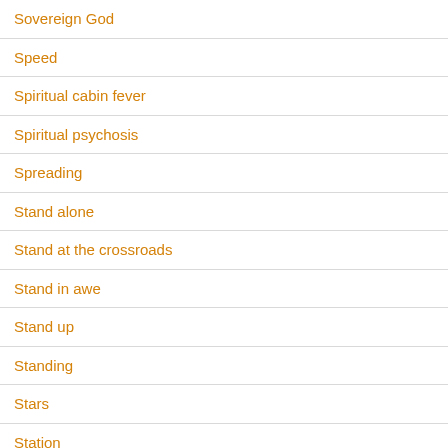Sovereign God
Speed
Spiritual cabin fever
Spiritual psychosis
Spreading
Stand alone
Stand at the crossroads
Stand in awe
Stand up
Standing
Stars
Station
Statutes